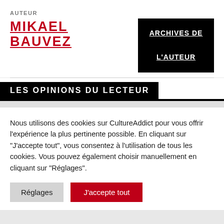AUTEUR
MIKAEL BAUVEZ
[Figure (other): Black box button with white bold underlined text: ARCHIVES DE L'AUTEUR]
LES OPINIONS DU LECTEUR
Nous utilisons des cookies sur CultureAddict pour vous offrir l'expérience la plus pertinente possible. En cliquant sur "J'accepte tout", vous consentez à l'utilisation de tous les cookies. Vous pouvez également choisir manuellement en cliquant sur "Réglages".
Réglages
J'accepte tout